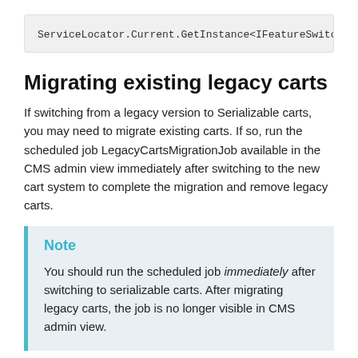ServiceLocator.Current.GetInstance<IFeatureSwitch
Migrating existing legacy carts
If switching from a legacy version to Serializable carts, you may need to migrate existing carts. If so, run the scheduled job LegacyCartsMigrationJob available in the CMS admin view immediately after switching to the new cart system to complete the migration and remove legacy carts.
Note
You should run the scheduled job immediately after switching to serializable carts. After migrating legacy carts, the job is no longer visible in CMS admin view.